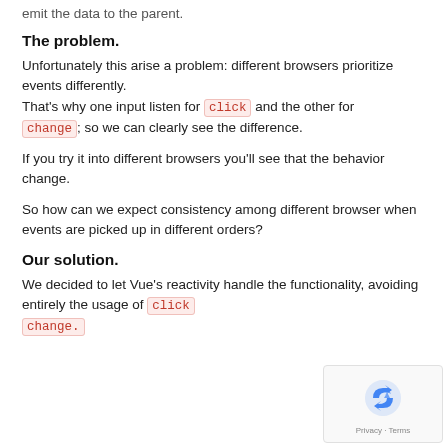emit the data to the parent.
The problem.
Unfortunately this arise a problem: different browsers prioritize events differently.
That's why one input listen for click and the other for change; so we can clearly see the difference.
If you try it into different browsers you'll see that the behavior change.
So how can we expect consistency among different browser when events are picked up in different orders?
Our solution.
We decided to let Vue's reactivity handle the functionality, avoiding entirely the usage of click change.